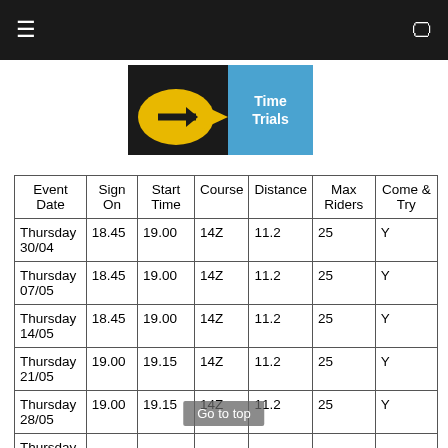Navigation bar with hamburger menu and monitor icon
[Figure (logo): Time Trials logo with yellow arrow graphic on dark background and blue text box reading 'Time Trials']
| Event Date | Sign On | Start Time | Course | Distance | Max Riders | Come & Try |
| --- | --- | --- | --- | --- | --- | --- |
| Thursday 30/04 | 18.45 | 19.00 | 14Z | 11.2 | 25 | Y |
| Thursday 07/05 | 18.45 | 19.00 | 14Z | 11.2 | 25 | Y |
| Thursday 14/05 | 18.45 | 19.00 | 14Z | 11.2 | 25 | Y |
| Thursday 21/05 | 19.00 | 19.15 | 14Z | 11.2 | 25 | Y |
| Thursday 28/05 | 19.00 | 19.15 | 14Z | 11.2 | 25 | Y |
| Thursday |  |  |  |  |  |  |